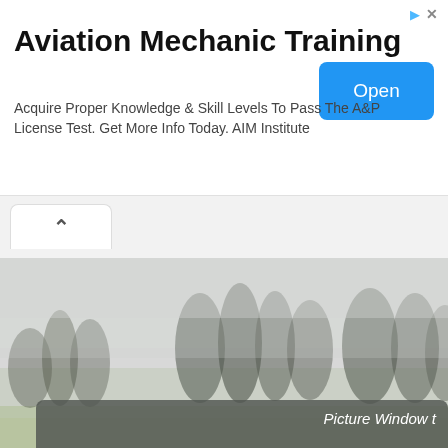Aviation Mechanic Training
Acquire Proper Knowledge & Skill Levels To Pass The A&P License Test. Get More Info Today. AIM Institute
[Figure (screenshot): Blue 'Open' button for ad]
[Figure (photo): Foggy landscape with trees and green meadow, misty forest scene]
Picture Window t